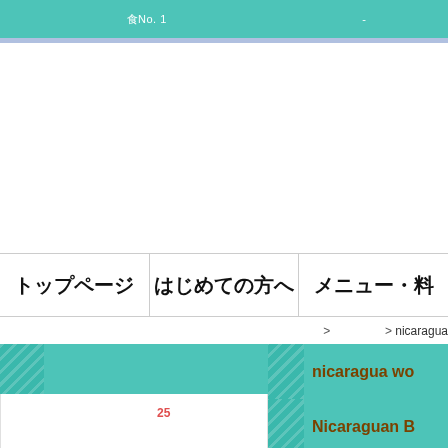（Japanese text）　食No. 1（Japanese text）-
[Figure (other): Large white advertisement area]
トップページ　はじめての方へ　メニュー・料
（Japanese breadcrumb）> （Japanese）> nicaragua
（Japanese）
（Japanese text）25（Japanese text）
nicaragua wo
Nicaraguan B